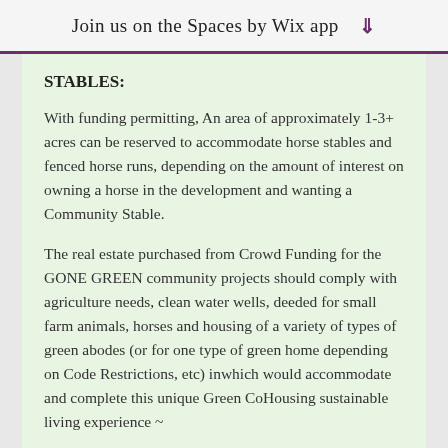Join us on the Spaces by Wix app ↓
STABLES:
With funding permitting, An area of approximately 1-3+ acres can be reserved to accommodate horse stables and fenced horse runs, depending on the amount of interest on owning a horse in the development and wanting a Community Stable.
The real estate purchased from Crowd Funding for the GONE GREEN community projects should comply with agriculture needs, clean water wells, deeded for small farm animals, horses and housing of a variety of types of green abodes (or for one type of green home depending on Code Restrictions, etc) inwhich would accommodate and complete this unique Green CoHousing sustainable living experience ~